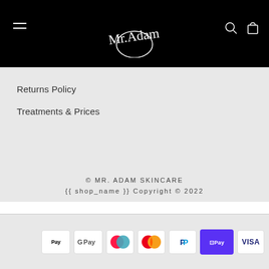[Figure (logo): Mr. Adam Skincare logo in white cursive script on black background, with hamburger menu icon on left and search/cart icons on right]
Returns Policy
Treatments & Prices
© MR. ADAM SKINCARE
{{ shop_name }} Copyright © 2022
[Figure (other): Payment method icons: American Express, Apple Pay, Google Pay, Mastercard (two variants), PayPal, Shop Pay, Visa]